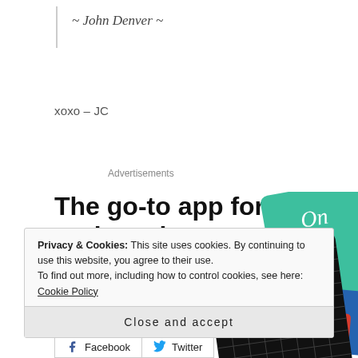~ John Denver ~
xoxo – JC
Advertisements
[Figure (infographic): Advertisement for a podcast app. Large bold text reads 'The go-to app for podcast lovers.' with a red 'Download now' link. On the right side are illustrated podcast app cards including a '99% Invisible' card on a black grid background and a green card.]
Privacy & Cookies: This site uses cookies. By continuing to use this website, you agree to their use.
To find out more, including how to control cookies, see here: Cookie Policy
Close and accept
Facebook   Twitter